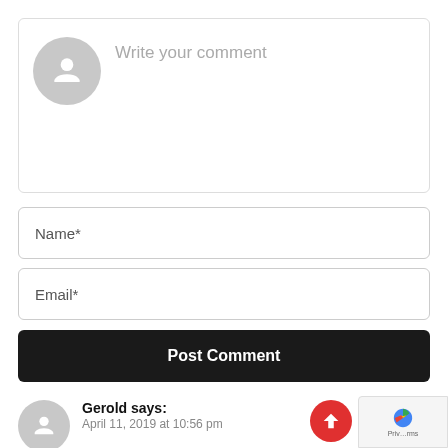[Figure (screenshot): Comment form with avatar placeholder, 'Write your comment' text, Name* field, Email* field, and Post Comment button]
Write your comment
Name*
Email*
Post Comment
Gerold says:
April 11, 2019 at 10:56 pm
engine-id configuration in Cumulus Linux is done via the net add snmp-server command. just add "engine-id " parameter. It is (now) documented under the link you already posted:
http://docs.cumulusnetworks.com/display/DOCS/